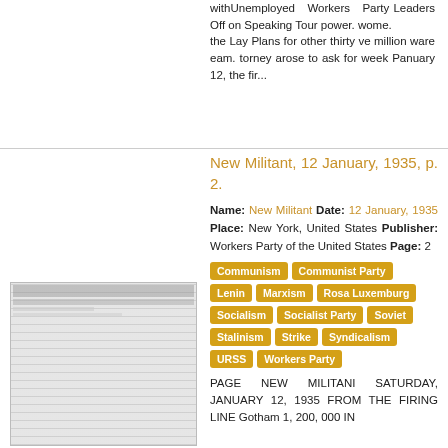withUnemployed Workers Party Leaders Off on Speaking Tour power. wome. the Lay Plans for other thirty ve million ware eam. torney arose to ask for week Panuary 12, the fir...
New Militant, 12 January, 1935, p. 2.
Name: New Militant Date: 12 January, 1935 Place: New York, United States Publisher: Workers Party of the United States Page: 2
Communism
Communist Party
Lenin
Marxism
Rosa Luxemburg
Socialism
Socialist Party
Soviet
Stalinism
Strike
Syndicalism
URSS
Workers Party
[Figure (photo): Thumbnail image of newspaper front page of New Militant, January 12, 1935]
PAGE NEW MILITANI SATURDAY, JANUARY 12, 1935 FROM THE FIRING LINE Gotham 1, 200, 000 IN